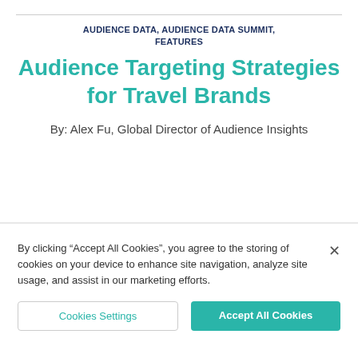AUDIENCE DATA, AUDIENCE DATA SUMMIT, FEATURES
Audience Targeting Strategies for Travel Brands
By: Alex Fu, Global Director of Audience Insights
By clicking “Accept All Cookies”, you agree to the storing of cookies on your device to enhance site navigation, analyze site usage, and assist in our marketing efforts.
Cookies Settings
Accept All Cookies